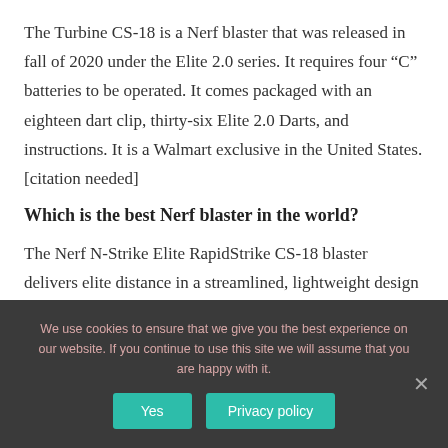The Turbine CS-18 is a Nerf blaster that was released in fall of 2020 under the Elite 2.0 series. It requires four “C” batteries to be operated. It comes packaged with an eighteen dart clip, thirty-six Elite 2.0 Darts, and instructions. It is a Walmart exclusive in the United States. [citation needed]
Which is the best Nerf blaster in the world?
The Nerf N-Strike Elite RapidStrike CS-18 blaster delivers elite distance in a streamlined, lightweight design that’s made for maximum mission mobility.
We use cookies to ensure that we give you the best experience on our website. If you continue to use this site we will assume that you are happy with it.